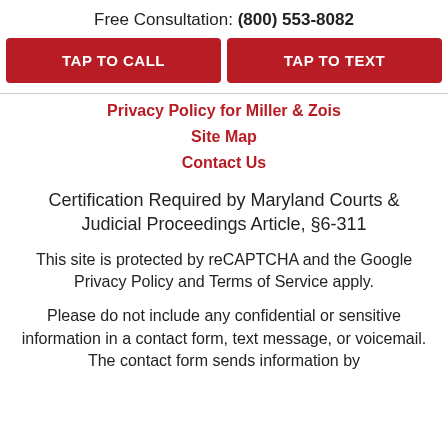Free Consultation: (800) 553-8082
TAP TO CALL
TAP TO TEXT
Privacy Policy for Miller & Zois
Site Map
Contact Us
Certification Required by Maryland Courts & Judicial Proceedings Article, §6-311
This site is protected by reCAPTCHA and the Google Privacy Policy and Terms of Service apply.
Please do not include any confidential or sensitive information in a contact form, text message, or voicemail. The contact form sends information by